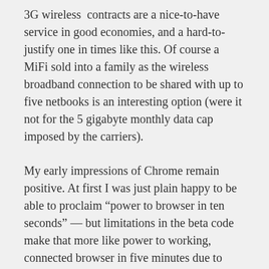3G wireless contracts are a nice-to-have service in good economies, and a hard-to-justify one in times like this. Of course a MiFi sold into a family as the wireless broadband connection to be shared with up to five netbooks is an interesting option (were it not for the 5 gigabyte monthly data cap imposed by the carriers).
My early impressions of Chrome remain positive. At first I was just plain happy to be able to proclaim “power to browser in ten seconds” — but limitations in the beta code make that more like power to working, connected browser in five minutes due to weirdness with the Broadcom wireless chipset.